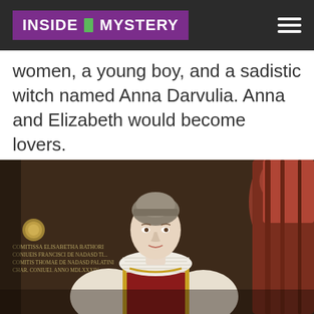INSIDE MYSTERY
women, a young boy, and a sadistic witch named Anna Darvulia. Anna and Elizabeth would become lovers.
[Figure (photo): Historical portrait painting of Elizabeth Bathory, a young noblewoman in a white ruffled collar and red velvet dress with white puffed sleeves, with Latin inscription on the left side of the painting identifying her, against a dark brown background with red draped curtain on the right.]